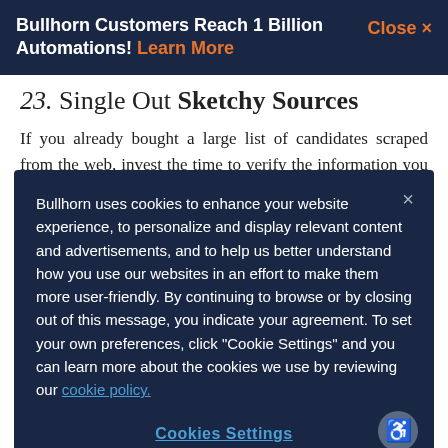Bullhorn Customers Reach 1 Billion Automations! Learn More   Close ×
23. Single Out Sketchy Sources
If you already bought a large list of candidates scraped from the web, invest the time to verify the information you received. This can be a big project—
Bullhorn uses cookies to enhance your website experience, to personalize and display relevant content and advertisements, and to help us better understand how you use our websites in an effort to make them more user-friendly. By continuing to browse or by closing out of this message, you indicate your agreement. To set your own preferences, click "Cookie Settings" and you can learn more about the cookies we use by reviewing our cookie policy.
Cookies Settings